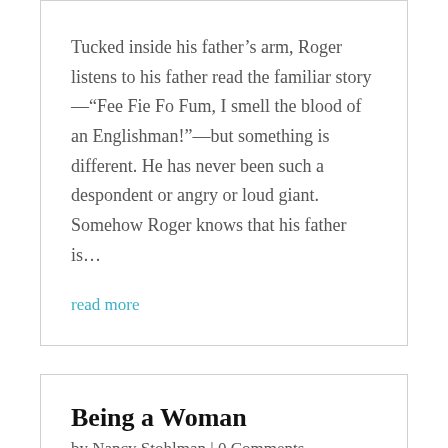Tucked inside his father’s arm, Roger listens to his father read the familiar story—“Fee Fie Fo Fum, I smell the blood of an Englishman!”—but something is different. He has never been such a despondent or angry or loud giant. Somehow Roger knows that his father is…
read more
Being a Woman
by Nancy Stohlman | 0 Comments